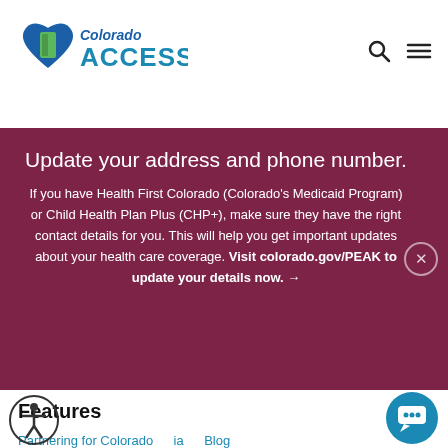[Figure (logo): Colorado Access logo — heart and door icon with stylized text 'Colorado ACCESS' in blue and green]
Update your address and phone number.
If you have Health First Colorado (Colorado's Medicaid Program) or Child Health Plan Plus (CHP+), make sure they have the right contact details for you. This will help you get important updates about your health care coverage. Visit colorado.gov/PEAK to update your details now. →
Features
Partnering for Colorado
ia
Blog